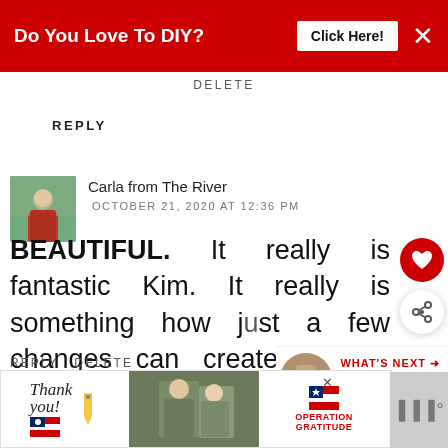[Figure (screenshot): Red advertisement banner with text 'Do You Love To DIY?' and 'Click Here!' button and X close button]
DELETE
REPLY
Carla from The River
OCTOBER 21, 2020 AT 12:36 PM
BEAUTIFUL. It really is fantastic Kim. It really is something how just a few changes can create a new room.
REPLY DELETE
[Figure (screenshot): Bottom advertisement banner with 'Thank you!' text, military images, and Operation Gratitude logo]